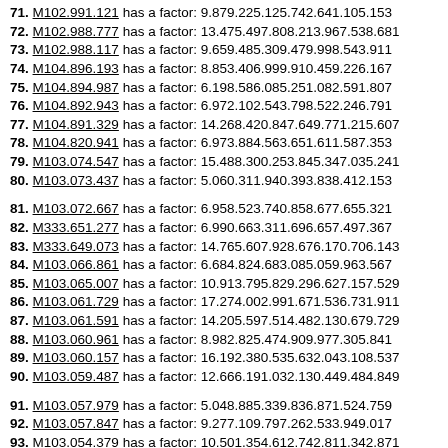71. M102.991.121 has a factor: 9.879.225.125.742.641.105.153
72. M102.988.777 has a factor: 13.475.497.808.213.967.538.681
73. M102.988.117 has a factor: 9.659.485.309.479.998.543.911
74. M104.896.193 has a factor: 8.853.406.999.910.459.226.167
75. M104.894.987 has a factor: 6.198.586.085.251.082.591.807
76. M104.892.943 has a factor: 6.972.102.543.798.522.246.791
77. M104.891.329 has a factor: 14.268.420.847.649.771.215.607
78. M104.820.941 has a factor: 6.973.884.563.651.611.587.353
79. M103.074.547 has a factor: 15.488.300.253.845.347.035.241
80. M103.073.437 has a factor: 5.060.311.940.393.838.412.153
81. M103.072.667 has a factor: 6.958.523.740.858.677.655.321
82. M333.651.277 has a factor: 6.990.663.311.696.657.497.367
83. M333.649.073 has a factor: 14.765.607.928.676.170.706.143
84. M103.066.861 has a factor: 6.684.824.683.085.059.963.567
85. M103.065.007 has a factor: 10.913.795.829.296.627.157.529
86. M103.061.729 has a factor: 17.274.002.991.671.536.731.911
87. M103.061.591 has a factor: 14.205.597.514.482.130.679.729
88. M103.060.961 has a factor: 8.982.825.474.909.977.305.841
89. M103.060.157 has a factor: 16.192.380.535.632.043.108.537
90. M103.059.487 has a factor: 12.666.191.032.130.449.484.849
91. M103.057.979 has a factor: 5.048.885.339.836.871.524.759
92. M103.057.847 has a factor: 9.277.109.797.262.533.949.017
93. M103.054.379 has a factor: 10.501.354.612.742.811.342.871